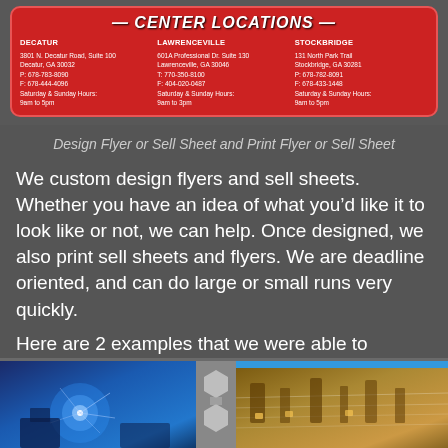CENTER LOCATIONS
| DECATUR | LAWRENCEVILLE | STOCKBRIDGE |
| --- | --- | --- |
| 3801 N. Decatur Road, Suite 100
Decatur, GA 30032
P: 678-783-8090
F: 678-444-4096
Saturday & Sunday Hours:
9am to 5pm | 601A Professional Dr. Suite 130
Lawrenceville, GA 30046
T: 770-350-8100
F: 404-020-0487
Saturday & Sunday Hours:
9am to 3pm | 131 North Park Trail
Stockbridge, GA 30281
P: 678-782-8091
F: 678-433-1448
Saturday & Sunday Hours:
9am to 5pm |
Design Flyer or Sell Sheet and Print Flyer or Sell Sheet
We custom design flyers and sell sheets. Whether you have an idea of what you’d like it to look like or not, we can help. Once designed, we also print sell sheets and flyers. We are deadline oriented, and can do large or small runs very quickly.
Here are 2 examples that we were able to execute quickly for our customers.
[Figure (photo): Bottom photo strip showing welding/industrial imagery on the left and warehouse/conveyor machinery on the right, with hexagonal design elements in the center.]